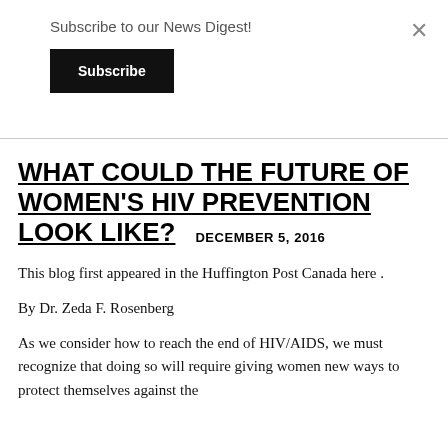Subscribe to our News Digest!
Subscribe
WHAT COULD THE FUTURE OF WOMEN'S HIV PREVENTION LOOK LIKE?   DECEMBER 5, 2016
This blog first appeared in the Huffington Post Canada here .
By Dr. Zeda F. Rosenberg
As we consider how to reach the end of HIV/AIDS, we must recognize that doing so will require giving women new ways to protect themselves against the